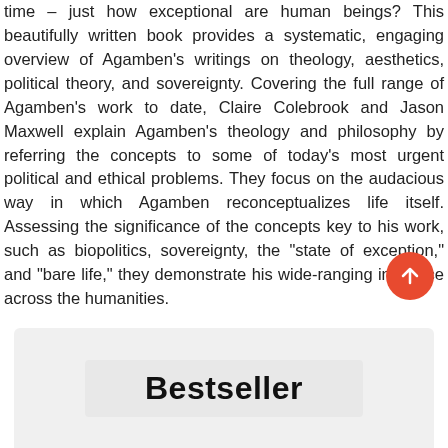time - just how exceptional are human beings? This beautifully written book provides a systematic, engaging overview of Agamben's writings on theology, aesthetics, political theory, and sovereignty. Covering the full range of Agamben's work to date, Claire Colebrook and Jason Maxwell explain Agamben's theology and philosophy by referring the concepts to some of today's most urgent political and ethical problems. They focus on the audacious way in which Agamben reconceptualizes life itself. Assessing the significance of the concepts key to his work, such as biopolitics, sovereignty, the "state of exception," and "bare life," they demonstrate his wide-ranging influence across the humanities.
Bestseller